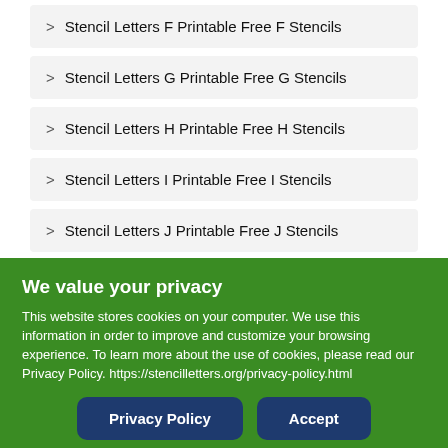> Stencil Letters F Printable Free F Stencils
> Stencil Letters G Printable Free G Stencils
> Stencil Letters H Printable Free H Stencils
> Stencil Letters I Printable Free I Stencils
> Stencil Letters J Printable Free J Stencils
> Stencil Letters K Printable Free K Stencils
> Stencil Letters L Printable Free L Stencils
> Stencil Letters M Printable Free M Stencils
We value your privacy
This website stores cookies on your computer. We use this information in order to improve and customize your browsing experience. To learn more about the use of cookies, please read our Privacy Policy. https://stencilletters.org/privacy-policy.html